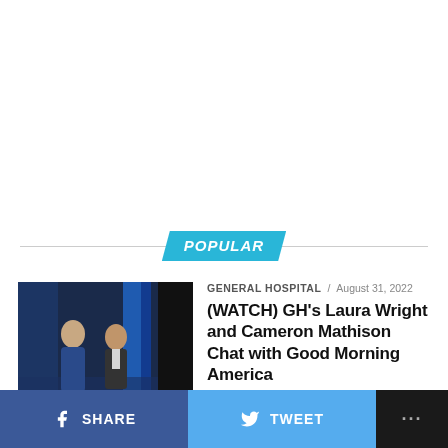POPULAR
[Figure (photo): Two people sitting in a TV studio with blue lighting backdrop]
GENERAL HOSPITAL / August 31, 2022
(WATCH) GH's Laura Wright and Cameron Mathison Chat with Good Morning America
SHARE   TWEET   ...